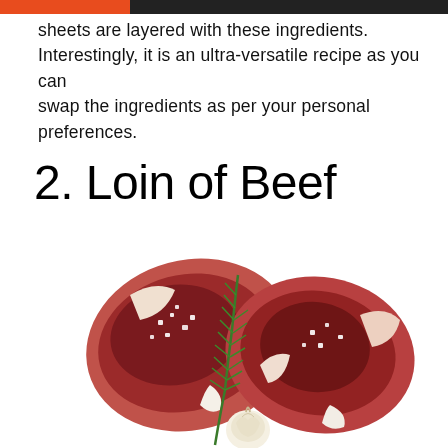sheets are layered with these ingredients. Interestingly, it is an ultra-versatile recipe as you can swap the ingredients as per your personal preferences.
2. Loin of Beef
[Figure (photo): Two raw T-bone or loin beef steaks sprinkled with coarse salt crystals, accompanied by a fresh rosemary sprig and a garlic clove, on a white background.]